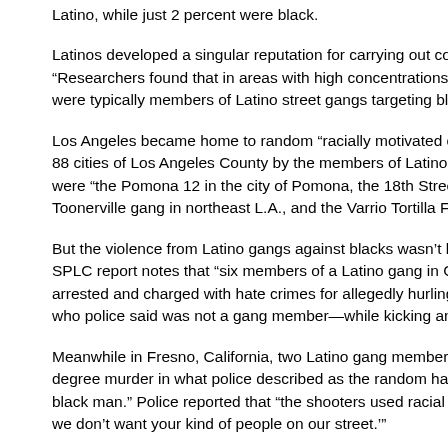Latino, while just 2 percent were black.
Latinos developed a singular reputation for carrying out coordinated national trends. “Researchers found that in areas with high concentrations of crimes, the perpetrators were typically members of Latino street gangs targeting blacks,” the SPLC reported.
Los Angeles became home to random “racially motivated crimes” perpetrated across 88 cities of Los Angeles County by the members of Latino gangs.” Among these gangs were “the Pomona 12 in the city of Pomona, the 18th Street Gang in Los Angeles, the Toonerville gang in northeast L.A., and the Varrio Tortilla Flats in…
But the violence from Latino gangs against blacks wasn’t limited to Los Angeles. The SPLC report notes that “six members of a Latino gang in Carlsbad, California were arrested and charged with hate crimes for allegedly hurling racial slurs at a black man who police said was not a gang member—while kicking and punching him.”
Meanwhile in Fresno, California, two Latino gang members “were convicted of first-degree murder in what police described as the random hate-crime shooting of a young black man.” Police reported that “the shooters used racial epithets and told the victim we don’t want your kind of people on our street.’”
The viciousness of Latino gangs was matched only by its pervasiveness. In some respects, Latino gangs shared two common characteristics: having their ranks augmented with illegal aliens thanks to porous borders.